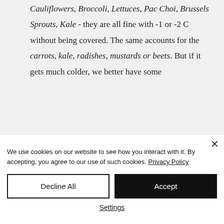Cauliflowers, Broccoli, Lettuces, Pac Choi, Brussels Sprouts, Kale - they are all fine with -1 or -2 C without being covered. The same accounts for the carrots, kale, radishes, mustards or beets. But if it gets much colder, we better have some
We use cookies on our website to see how you interact with it. By accepting, you agree to our use of such cookies. Privacy Policy
Decline All
Accept
Settings